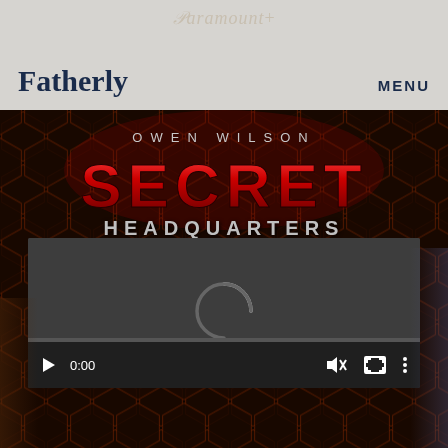Paramount+
Fatherly
MENU
[Figure (screenshot): Movie poster and video player for 'Secret Headquarters' starring Owen Wilson on Paramount+. Background shows dark hexagonal pattern with red and grey movie title text. Video player overlay shows loading spinner, time 0:00, and playback controls.]